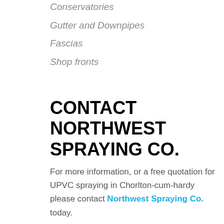Conservatories
Gutter and Downpipes
Fascias
Shop fronts
CONTACT NORTHWEST SPRAYING CO.
For more information, or a free quotation for UPVC spraying in Chorlton-cum-hardy please contact Northwest Spraying Co. today.